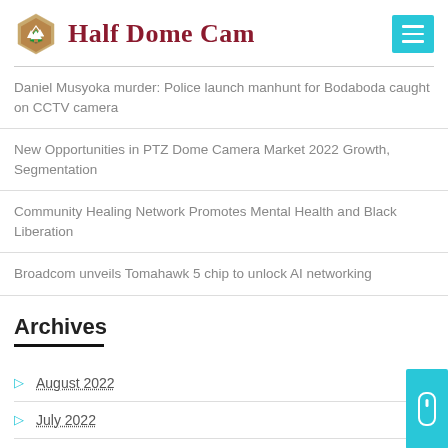Half Dome Cam
Daniel Musyoka murder: Police launch manhunt for Bodaboda caught on CCTV camera
New Opportunities in PTZ Dome Camera Market 2022 Growth, Segmentation
Community Healing Network Promotes Mental Health and Black Liberation
Broadcom unveils Tomahawk 5 chip to unlock AI networking
Archives
August 2022
July 2022